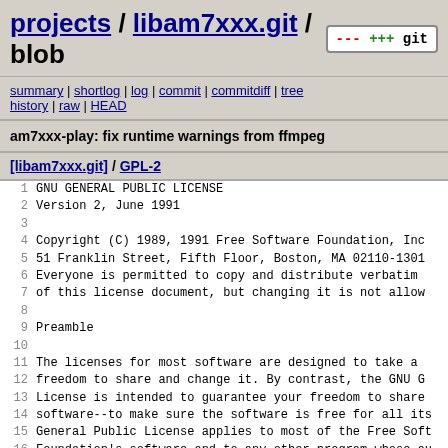projects / libam7xxx.git / blob
summary | shortlog | log | commit | commitdiff | tree history | raw | HEAD
am7xxx-play: fix runtime warnings from ffmpeg
[libam7xxx.git] / GPL-2
1  GNU GENERAL PUBLIC LICENSE
2  Version 2, June 1991
3
4  Copyright (C) 1989, 1991 Free Software Foundation, Inc
5  51 Franklin Street, Fifth Floor, Boston, MA 02110-1301
6  Everyone is permitted to copy and distribute verbatim
7  of this license document, but changing it is not allow
8
9  Preamble
10
11  The licenses for most software are designed to take a
12  freedom to share and change it.  By contrast, the GNU G
13  License is intended to guarantee your freedom to share
14  software--to make sure the software is free for all its
15  General Public License applies to most of the Free Soft
16  Foundation's software and to any other program whose au
17  using it.  (Some other Free Software Foundation softwar
18  the GNU Lesser General Public License instead.)  You ca
19  your programs, too.
20